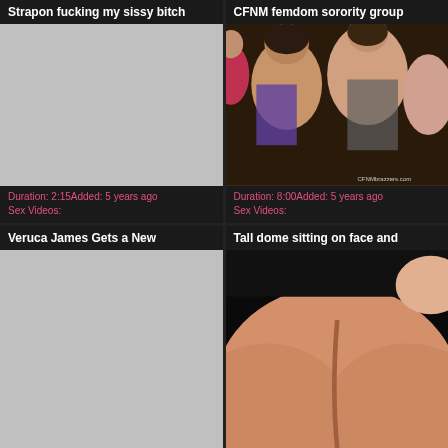Strapon fucking my sissy bitch
[Figure (photo): Gray placeholder thumbnail for video]
Duration: 2:15Added: 5 years ago
Sex Videos:
CFNM femdom sorority group
[Figure (photo): Video thumbnail showing group of people, watermark CFNMbrazzers.com]
Duration: 8:00Added: 5 years ago
Sex Videos:
Veruca James Gets a New
[Figure (photo): Gray placeholder thumbnail for video]
Tall dome sitting on face and
[Figure (photo): Video thumbnail showing close-up body shot]